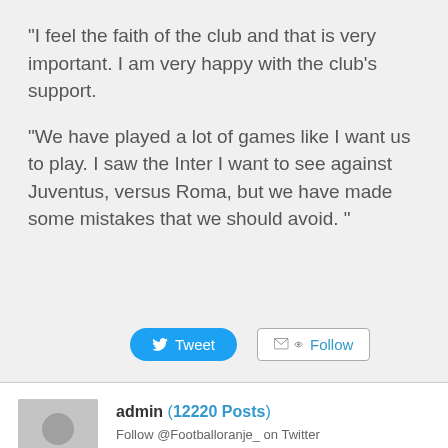“I feel the faith of the club and that is very important. I am very happy with the club’s support.
“We have played a lot of games like I want us to play. I saw the Inter I want to see against Juventus, versus Roma, but we have made some mistakes that we should avoid. ”
[Figure (screenshot): Tweet button (blue rounded) and Follow button (outlined)]
admin (12220 Posts)
Follow @Footballoranje_ on Twitter